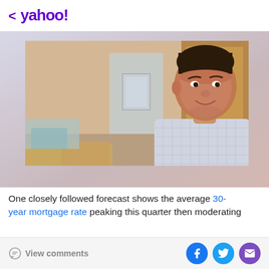< yahoo!
[Figure (photo): Middle-aged man in a light blue checked shirt smiling slightly, positioned in front of a glass partition in an office-like setting with wooden furniture visible in the background.]
One closely followed forecast shows the average 30-year mortgage rate peaking this quarter then moderating
View comments | [Facebook] [Twitter] [Mail]